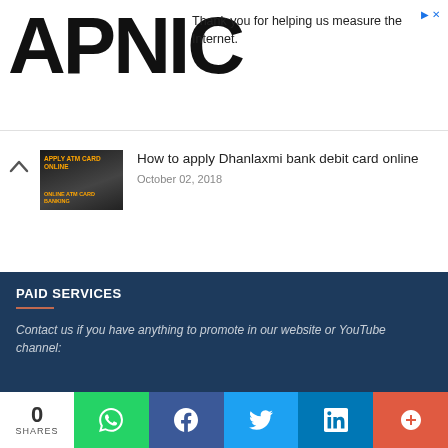[Figure (logo): APNIC logo in large bold black text]
Thank you for helping us measure the Internet.
[Figure (photo): Thumbnail image for article about applying Dhanlaxmi bank debit card online, showing a person with text overlay 'APPLY ATM CARD ONLINE' and 'ONLINE ATM CARD BANKING']
How to apply Dhanlaxmi bank debit card online
October 02, 2018
SEARCH: ANYTHING
Search this blog
PAID SERVICES
Contact us if you have anything to promote in our website or YouTube channel:
0 SHARES